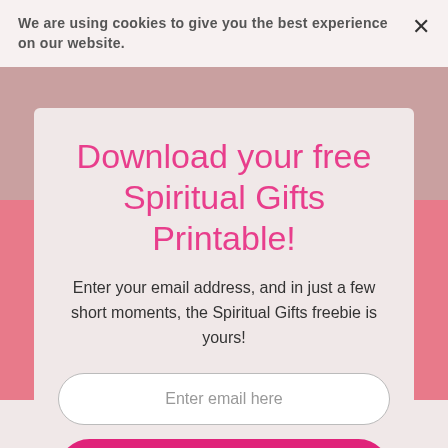We are using cookies to give you the best experience on our website.
Download your free Spiritual Gifts Printable!
Enter your email address, and in just a few short moments, the Spiritual Gifts freebie is yours!
Enter email here
Yes, I want the free printable!
Submit
[Figure (logo): Mailmunch logo with blue mountain icon and text 'mailmunch']